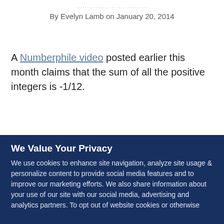................................
By Evelyn Lamb on January 20, 2014
A Numberphile video posted earlier this month claims that the sum of all the positive integers is -1/12.
We Value Your Privacy
We use cookies to enhance site navigation, analyze site usage & personalize content to provide social media features and to improve our marketing efforts. We also share information about your use of our site with our social media, advertising and analytics partners. To opt out of website cookies or otherwise